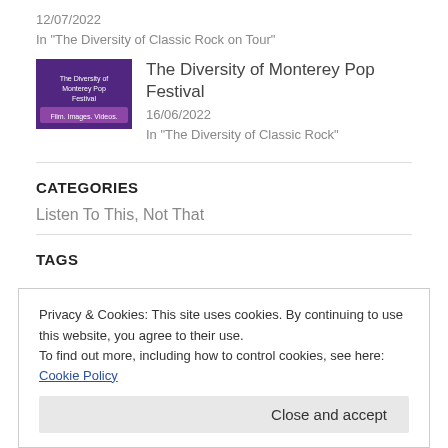12/07/2022
In "The Diversity of Classic Rock on Tour"
[Figure (photo): Thumbnail image for The Diversity of Monterey Pop Festival post]
The Diversity of Monterey Pop Festival
16/06/2022
In "The Diversity of Classic Rock"
CATEGORIES
Listen To This, Not That
TAGS
Privacy & Cookies: This site uses cookies. By continuing to use this website, you agree to their use.
To find out more, including how to control cookies, see here: Cookie Policy
Close and accept